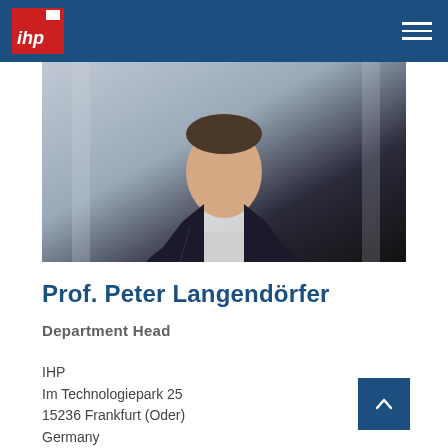IHP logo and navigation header
[Figure (photo): Portrait photo of a man in a dark blazer with a patterned bow tie, blurred indoor background]
Prof. Peter Langendörfer
Department Head
IHP
Im Technologiepark 25
15236 Frankfurt (Oder)
Germany